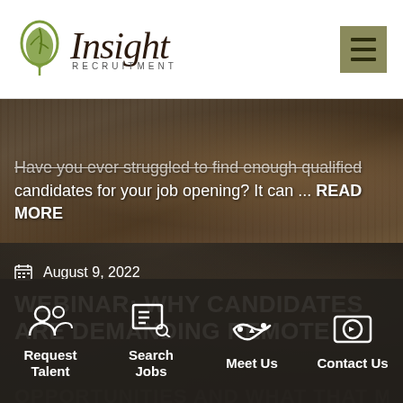Insight Recruitment
[Figure (screenshot): Photo of hands at desk, partially obscured, with overlay text about finding qualified candidates]
Have you ever struggled to find enough qualified candidates for your job opening? It can ... READ MORE
[Figure (screenshot): Photo of office/room background, darkened, with date and webinar title text overlay]
August 9, 2022
WEBINAR: WHY CANDIDATES ARE DEMANDING REMOTE
OPPORTUNITIES AND WHAT THAT MEANS
Request Talent | Search Jobs | Meet Us | Contact Us